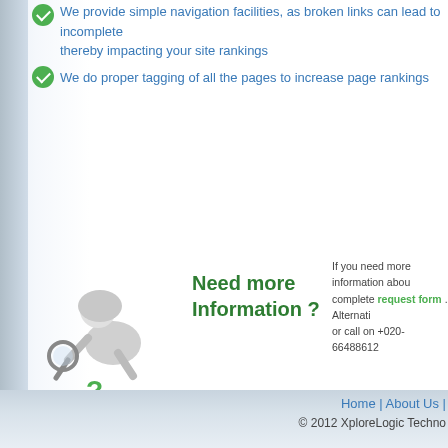We provide simple navigation facilities, as broken links can lead to incomplete crawling thereby impacting your site rankings
We do proper tagging of all the pages to increase page rankings
[Figure (illustration): 3D figure of a person bent over looking through a magnifying glass with a green question mark below]
Need more Information ?
If you need more information about complete request form . Alternatively or call on +020-66488612
Home | About Us | © 2012 XploreLogic Techno